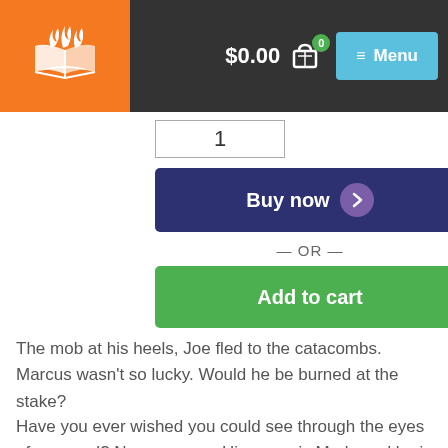$0.00  0  Menu
[Figure (screenshot): Quantity input box showing value 1]
[Figure (screenshot): Buy now button with purple chevron icon]
— OR —
[Figure (screenshot): Add to cart green button]
The mob at his heels, Joe fled to the catacombs. Marcus wasn't so lucky. Would he be burned at the stake?
Have you ever wished you could see through the eyes of an angel? Now you can. His name is Mark, and he is a watcher. In his notebook he has